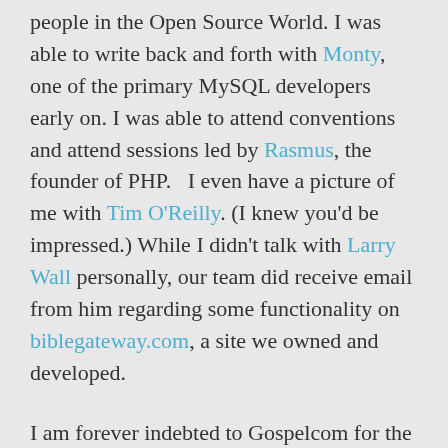people in the Open Source World. I was able to write back and forth with Monty, one of the primary MySQL developers early on. I was able to attend conventions and attend sessions led by Rasmus, the founder of PHP.  I even have a picture of me with Tim O'Reilly. (I knew you'd be impressed.) While I didn't talk with Larry Wall personally, our team did receive email from him regarding some functionality on biblegateway.com, a site we owned and developed.
I am forever indebted to Gospelcom for the chance they took on me and the freedom they gave me to grow technically. Speaking from a purely selfish perspective, the experience I gained at Gospelcom has opened a world of opportunities